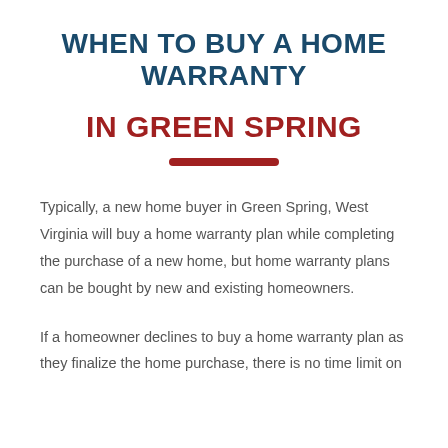WHEN TO BUY A HOME WARRANTY
IN GREEN SPRING
Typically, a new home buyer in Green Spring, West Virginia will buy a home warranty plan while completing the purchase of a new home, but home warranty plans can be bought by new and existing homeowners.
If a homeowner declines to buy a home warranty plan as they finalize the home purchase, there is no time limit on